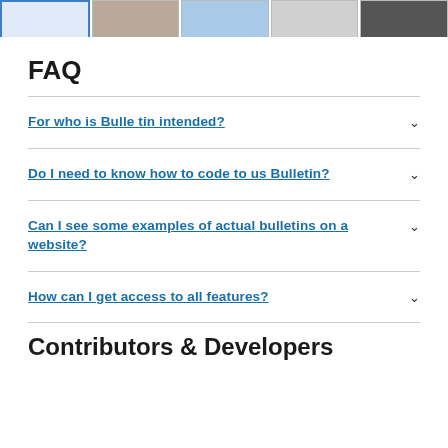[Figure (screenshot): Row of five website screenshot thumbnails at the top of the page]
FAQ
For who is Bulletin intended?
Do I need to know how to code to us Bulletin?
Can I see some examples of actual bulletins on a website?
How can I get access to all features?
Contributors & Developers